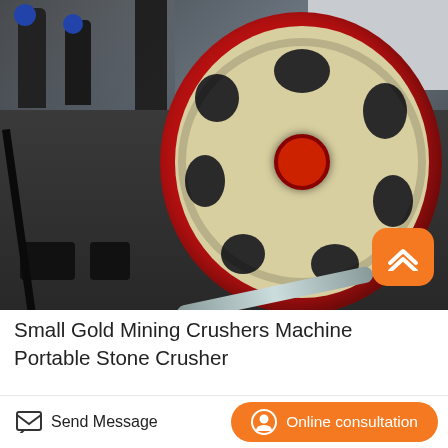[Figure (photo): Close-up photograph of a portable stone crusher machine showing a large flywheel with cream/beige body and red rim, dark metal frame structure, two workers in blue hard hats visible in the background, and a chrome handle bar in the foreground lower right.]
Small Gold Mining Crushers Machine Portable Stone Crusher
Send Message
Online consultation